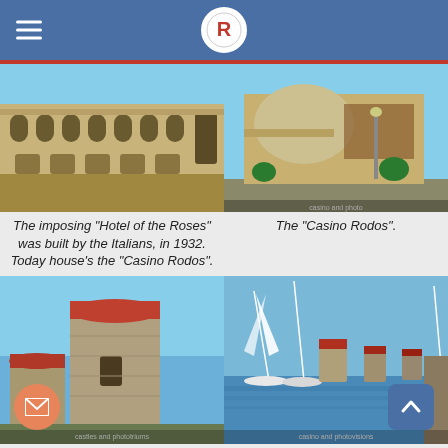Rhodes travel app header with logo and hamburger menu
[Figure (photo): Exterior of the Hotel of the Roses, a large neoclassical building with arched windows, built by Italians in 1932]
[Figure (photo): The Casino Rodos building exterior with curved facade and palm trees]
The imposing "Hotel of the Roses" was built by the Italians, in 1932. Today house's the "Casino Rodos".
The "Casino Rodos".
[Figure (photo): Stone cylindrical Byzantine tower with red conical roof near the fortress with lighthouse]
[Figure (photo): Three stone Byzantine windmills with red roofs at the harbor with sailboats]
r the fortress with the lighthouse, three stone Byzantine windmills lend the
The three stone Byzantine windmills